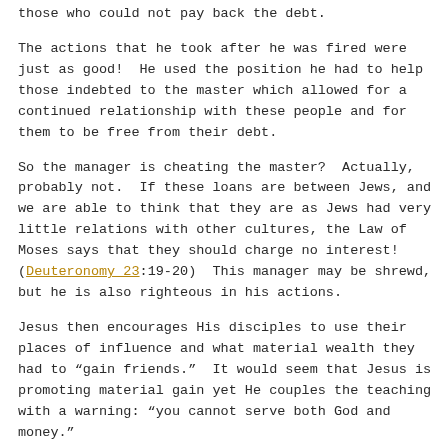those who could not pay back the debt.
The actions that he took after he was fired were just as good!  He used the position he had to help those indebted to the master which allowed for a continued relationship with these people and for them to be free from their debt.
So the manager is cheating the master?  Actually, probably not.  If these loans are between Jews, and we are able to think that they are as Jews had very little relations with other cultures, the Law of Moses says that they should charge no interest!  (Deuteronomy 23:19-20)  This manager may be shrewd, but he is also righteous in his actions.
Jesus then encourages His disciples to use their places of influence and what material wealth they had to “gain friends.”  It would seem that Jesus is promoting material gain yet He couples the teaching with a warning: “you cannot serve both God and money.”
God has blessed each one of us; we are encouraged to use those blessings to bless others.  This has always been the call of believers: Blessed to be a blessing.  We should use what God has given us to that end.  In this way we will not become a slave to our possessions, serving them rather than God; instead we